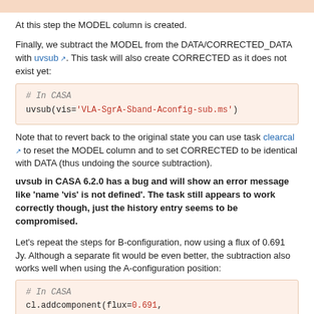At this step the MODEL column is created.
Finally, we subtract the MODEL from the DATA/CORRECTED_DATA with uvsub. This task will also create CORRECTED as it does not exist yet:
[Figure (screenshot): Code block: # In CASA
uvsub(vis='VLA-SgrA-Sband-Aconfig-sub.ms')]
Note that to revert back to the original state you can use task clearcal to reset the MODEL column and to set CORRECTED to be identical with DATA (thus undoing the source subtraction).
uvsub in CASA 6.2.0 has a bug and will show an error message like 'name 'vis' is not defined'. The task still appears to work correctly though, just the history entry seems to be compromised.
Let's repeat the steps for B-configuration, now using a flux of 0.691 Jy. Although a separate fit would be even better, the subtraction also works well when using the A-configuration position:
[Figure (screenshot): Code block: # In CASA
cl.addcomponent(flux=0.691,
fluxunit='Jy',shape='point', dir='J2000
17:45:40.039, -29.00.28.05')]